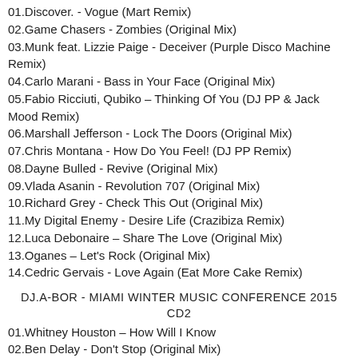01.Discover. - Vogue (Mart Remix)
02.Game Chasers - Zombies (Original Mix)
03.Munk feat. Lizzie Paige - Deceiver (Purple Disco Machine Remix)
04.Carlo Marani - Bass in Your Face (Original Mix)
05.Fabio Ricciuti, Qubiko – Thinking Of You (DJ PP & Jack Mood Remix)
06.Marshall Jefferson - Lock The Doors (Original Mix)
07.Chris Montana - How Do You Feel! (DJ PP Remix)
08.Dayne Bulled - Revive (Original Mix)
09.Vlada Asanin - Revolution 707 (Original Mix)
10.Richard Grey - Check This Out (Original Mix)
11.My Digital Enemy - Desire Life (Crazibiza Remix)
12.Luca Debonaire  – Share The Love (Original Mix)
13.Oganes – Let's Rock (Original Mix)
14.Cedric Gervais - Love Again (Eat More Cake Remix)
DJ.A-BOR - MIAMI WINTER MUSIC CONFERENCE 2015
CD2
01.Whitney Houston – How Will I Know
02.Ben Delay - Don't Stop (Original Mix)
03.Tosel & Hale, Manos – Don't Get Mad at Me